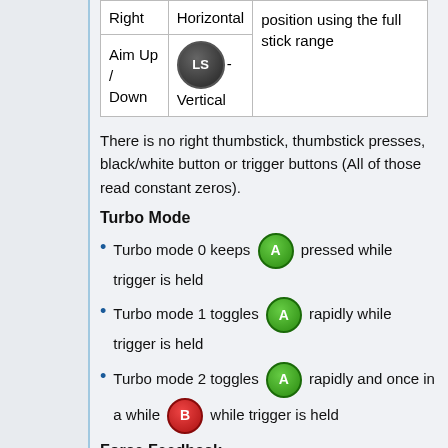| Action | Control | Description |
| --- | --- | --- |
| Right | LS Horizontal | position using the full stick range |
| Aim Up / Down | LS Vertical | position using the full stick range |
There is no right thumbstick, thumbstick presses, black/white button or trigger buttons (All of those read constant zeros).
Turbo Mode
Turbo mode 0 keeps A pressed while trigger is held
Turbo mode 1 toggles A rapidly while trigger is held
Turbo mode 2 toggles A rapidly and once in a while B while trigger is held
Force Feedback
The upper part of the gun is moveable